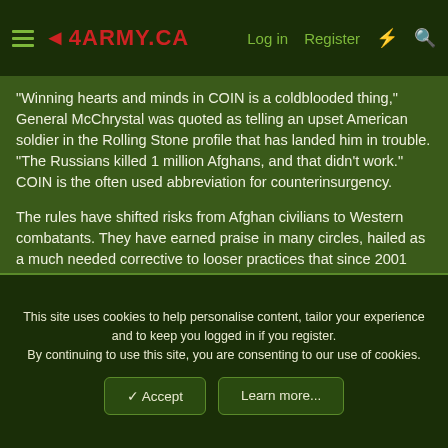4ARMY.CA — Log in | Register
“Winning hearts and minds in COIN is a coldblooded thing,” General McChrystal was quoted as telling an upset American soldier in the Rolling Stone profile that has landed him in trouble. “The Russians killed 1 million Afghans, and that didn’t work.” COIN is the often used abbreviation for counterinsurgency.
The rules have shifted risks from Afghan civilians to Western combatants. They have earned praise in many circles, hailed as a much needed corrective to looser practices that since 2001 killed or maimed many Afghan civilians and undermined support for the American-led war.
More on link
This site uses cookies to help personalise content, tailor your experience and to keep you logged in if you register.
By continuing to use this site, you are consenting to our use of cookies.